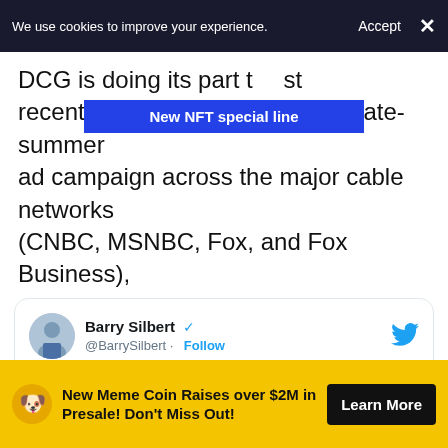We use cookies to improve your experience. Accept ×
DCG is doing its part t… st recently making a splash with a late-summer ad campaign across the major cable networks (CNBC, MSNBC, Fox, and Fox Business), designed to bring crypto to the masses.
[Figure (screenshot): Blue banner overlay reading 'New NFT special line']
[Figure (screenshot): Embedded tweet from Barry Silbert (@BarrySilbert): 'So which country should @lunomoney expand to next?' posted at 2:23 PM · Sep 9, 2020. Shows 118 likes, Reply, Copy link actions.]
New Meme Coin Raises over $2M in Presale! Don't Miss Out! Learn More